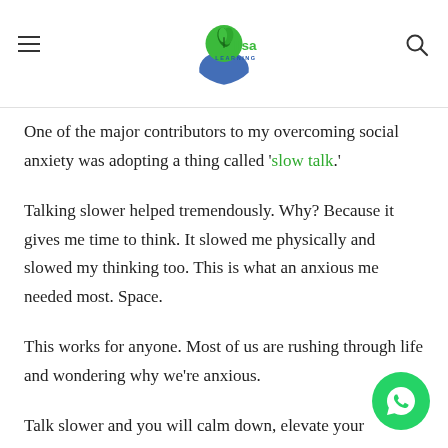lisa LEARNING
One of the major contributors to my overcoming social anxiety was adopting a thing called 'slow talk.'
Talking slower helped tremendously. Why? Because it gives me time to think. It slowed me physically and slowed my thinking too. This is what an anxious me needed most. Space.
This works for anyone. Most of us are rushing through life and wondering why we're anxious.
Talk slower and you will calm down, elevate your